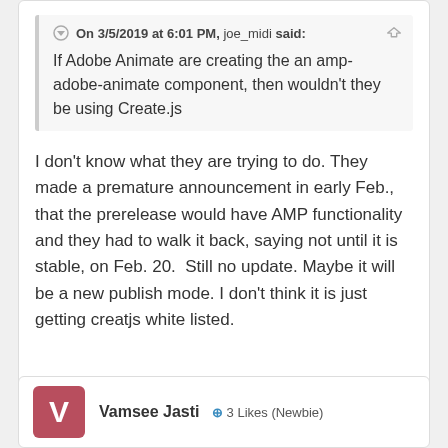On 3/5/2019 at 6:01 PM, joe_midi said:
If Adobe Animate are creating the an amp-adobe-animate component, then wouldn't they be using Create.js
I don't know what they are trying to do. They made a premature announcement in early Feb., that the prerelease would have AMP functionality and they had to walk it back, saying not until it is stable, on Feb. 20.  Still no update. Maybe it will be a new publish mode. I don't think it is just getting creatjs white listed.
Vamsee Jasti  3 Likes (Newbie)